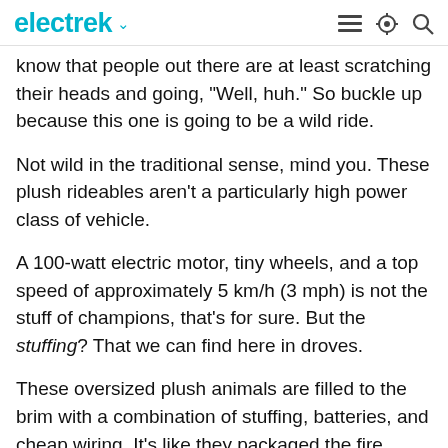electrek
know that people out there are at least scratching their heads and going, "Well, huh." So buckle up because this one is going to be a wild ride.
Not wild in the traditional sense, mind you. These plush rideables aren't a particularly high power class of vehicle.
A 100-watt electric motor, tiny wheels, and a top speed of approximately 5 km/h (3 mph) is not the stuff of champions, that's for sure. But the stuffing? That we can find here in droves.
These oversized plush animals are filled to the brim with a combination of stuffing, batteries, and cheap wiring. It's like they packaged the fire triangle in fun new wrapping.
That sounds like a recipe for success right there. It's not as if we're putting the most vulnerable members of society on those things.